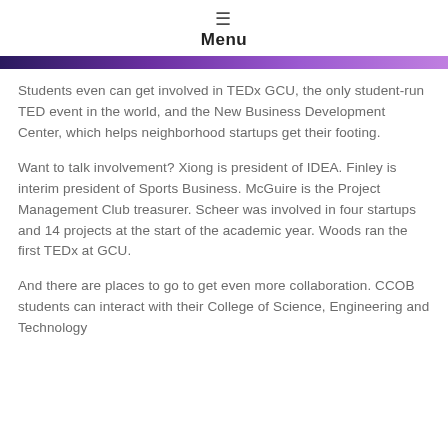Menu
Students even can get involved in TEDx GCU, the only student-run TED event in the world, and the New Business Development Center, which helps neighborhood startups get their footing.
Want to talk involvement? Xiong is president of IDEA. Finley is interim president of Sports Business. McGuire is the Project Management Club treasurer. Scheer was involved in four startups and 14 projects at the start of the academic year. Woods ran the first TEDx at GCU.
And there are places to go to get even more collaboration. CCOB students can interact with their College of Science, Engineering and Technology